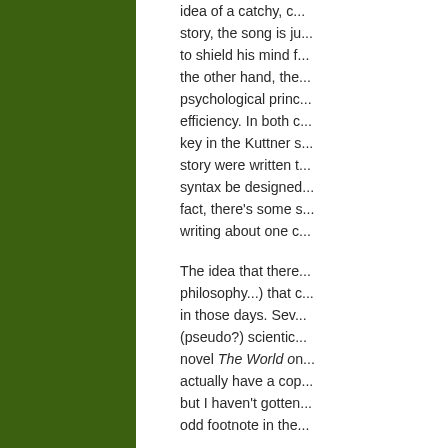[Figure (other): Large green rectangular panel occupying the left portion of the page]
idea of a catchy, c... story, the song is ju... to shield his mind f... the other hand, the... psychological princ... efficiency. In both c... key in the Kuttner s... story were written t... syntax be designed... fact, there's some s... writing about one c...
The idea that there... philosophy...) that c... in those days. Sev... (pseudo?) scientic... novel The World on... actually have a cop... but I haven't gotten... odd footnote in the...
I wonder, by the wa... world on "Nothing b... during WWII is very...